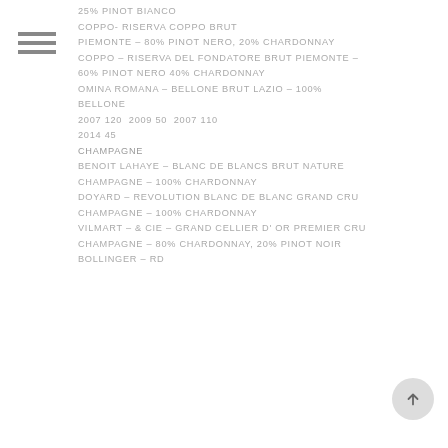25% PINOT BIANCO
COPPO- RISERVA COPPO BRUT
PIEMONTE – 80% PINOT NERO, 20% CHARDONNAY
COPPO – RISERVA DEL FONDATORE BRUT PIEMONTE – 60% PINOT NERO 40% CHARDONNAY
OMINA ROMANA – BELLONE BRUT LAZIO – 100% BELLONE
2007 120  2009 50  2007 110
2014 45
CHAMPAGNE
BENOIT LAHAYE – BLANC DE BLANCS BRUT NATURE CHAMPAGNE – 100% CHARDONNAY
DOYARD – REVOLUTION BLANC DE BLANC GRAND CRU CHAMPAGNE – 100% CHARDONNAY
VILMART – & CIE – GRAND CELLIER D'OR PREMIER CRU CHAMPAGNE – 80% CHARDONNAY, 20% PINOT NOIR
BOLLINGER – RD